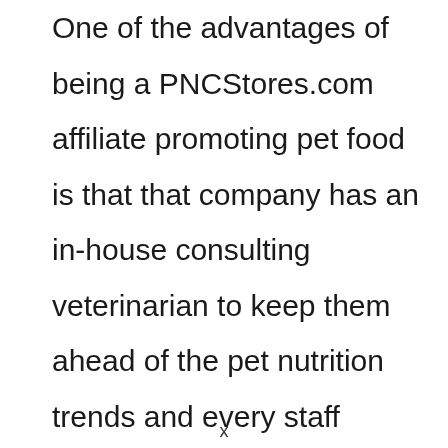One of the advantages of being a PNCStores.com affiliate promoting pet food is that that company has an in-house consulting veterinarian to keep them ahead of the pet nutrition trends and every staff member is put through company training specifically focused on the nutritional needs of pets.

The store stocks most of the leading brand
x